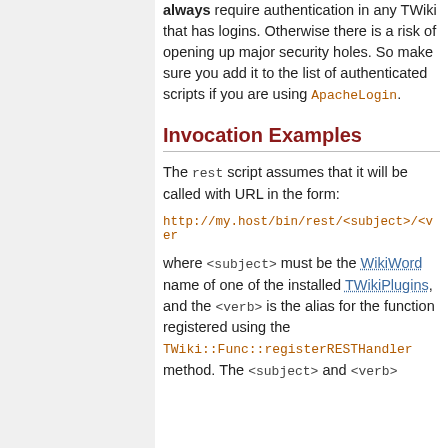always require authentication in any TWiki that has logins. Otherwise there is a risk of opening up major security holes. So make sure you add it to the list of authenticated scripts if you are using ApacheLogin.
Invocation Examples
The rest script assumes that it will be called with URL in the form:
http://my.host/bin/rest/<subject>/<ver
where <subject> must be the WikiWord name of one of the installed TWikiPlugins, and the <verb> is the alias for the function registered using the TWiki::Func::registerRESTHandler method. The <subject> and <verb>